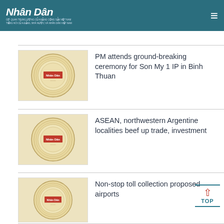Nhân Dân
[Figure (logo): Nhan Dan newspaper logo with circular emblem]
PM attends ground-breaking ceremony for Son My 1 IP in Binh Thuan
[Figure (logo): Nhan Dan newspaper circular emblem placeholder]
ASEAN, northwestern Argentine localities beef up trade, investment
[Figure (logo): Nhan Dan newspaper circular emblem placeholder]
Non-stop toll collection proposed airports